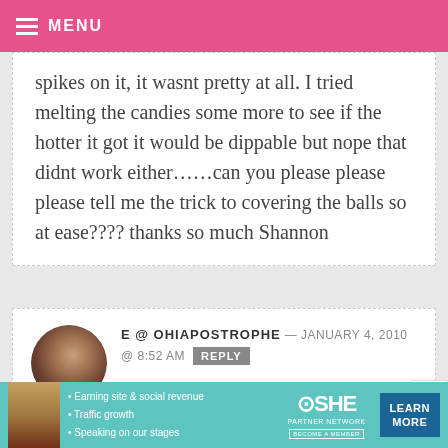MENU
spikes on it, it wasnt pretty at all. I tried melting the candies some more to see if the hotter it got it would be dippable but nope that didnt work either……can you please please please tell me the trick to covering the balls so at ease???? thanks so much Shannon
E @ OHIAPOSTROPHE — JANUARY 4, 2010 @ 8:52 AM REPLY
love them!! I was sad I didn't have time
[Figure (infographic): SHE Partner Network advertisement banner with photo of woman and bullet points about earning site, traffic growth, speaking on stages]